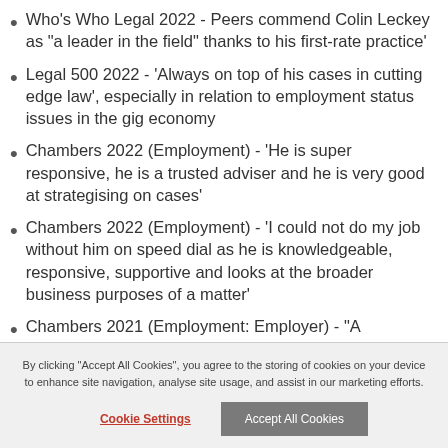Who's Who Legal 2022 - Peers commend Colin Leckey as "a leader in the field" thanks to his first-rate practice'
Legal 500 2022 - 'Always on top of his cases in cutting edge law', especially in relation to employment status issues in the gig economy
Chambers 2022 (Employment) - 'He is super responsive, he is a trusted adviser and he is very good at strategising on cases'
Chambers 2022 (Employment) - 'I could not do my job without him on speed dial as he is knowledgeable, responsive, supportive and looks at the broader business purposes of a matter'
Chambers 2021 (Employment: Employer) - "A
By clicking "Accept All Cookies", you agree to the storing of cookies on your device to enhance site navigation, analyse site usage, and assist in our marketing efforts.
Cookie Settings | Accept All Cookies